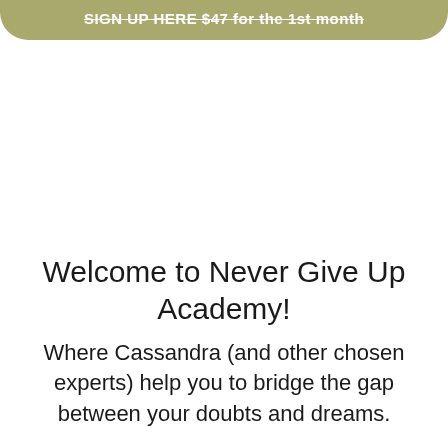SIGN UP HERE $47 for the 1st month
Welcome to Never Give Up Academy!
Where Cassandra (and other chosen experts) help you to bridge the gap between your doubts and dreams.